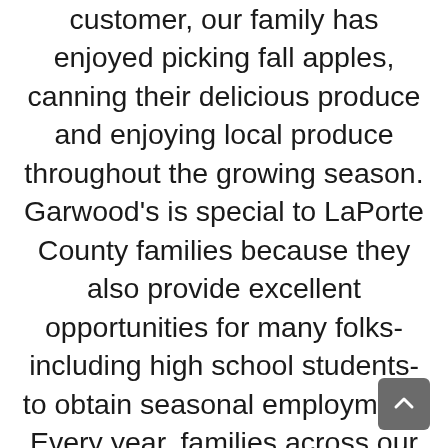customer, our family has enjoyed picking fall apples, canning their delicious produce and enjoying local produce throughout the growing season. Garwood's is special to LaPorte County families because they also provide excellent opportunities for many folks- including high school students- to obtain seasonal employment. Every year, families across our region await with anticipation that first spring visit to Garwood's to enjoy all that Garwood's has to offer. We look forward to seeing